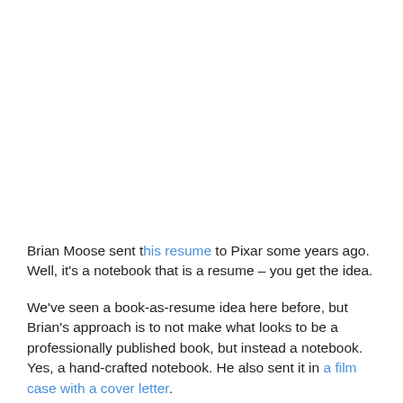Brian Moose sent this resume to Pixar some years ago. Well, it's a notebook that is a resume – you get the idea.
We've seen a book-as-resume idea here before, but Brian's approach is to not make what looks to be a professionally published book, but instead a notebook. Yes, a hand-crafted notebook. He also sent it in a film case with a cover letter.